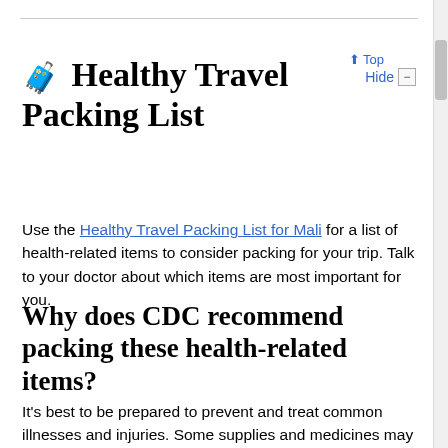⬆ Top
🧳 Healthy Travel Packing List
Use the Healthy Travel Packing List for Mali for a list of health-related items to consider packing for your trip. Talk to your doctor about which items are most important for you.
Why does CDC recommend packing these health-related items?
It's best to be prepared to prevent and treat common illnesses and injuries. Some supplies and medicines may be difficult to find at your destination, may have different names, or may have different ingredients than